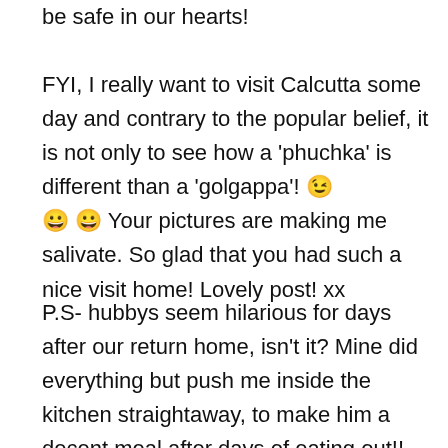be safe in our hearts!
FYI, I really want to visit Calcutta some day and contrary to the popular belief, it is not only to see how a 'phuchka' is different than a 'golgappa'! 😉 😀 😀 Your pictures are making me salivate. So glad that you had such a nice visit home! Lovely post! xx
P.S- hubbys seem hilarious for days after our return home, isn't it? Mine did everything but push me inside the kitchen straightaway, to make him a decent meal after days of eating out!! 😉